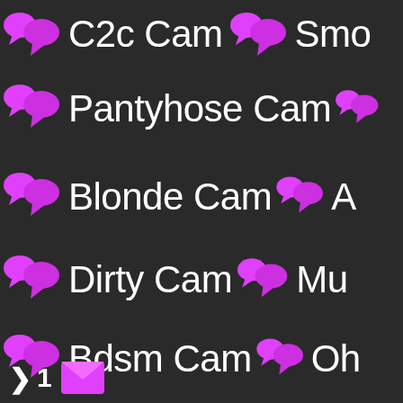💬 C2c Cam 💬 Smo
💬 Pantyhose Cam 💬
💬 Blonde Cam 💬 A
💬 Dirty Cam 💬 Mu
💬 Bdsm Cam 💬 Oh
> 1 ✉